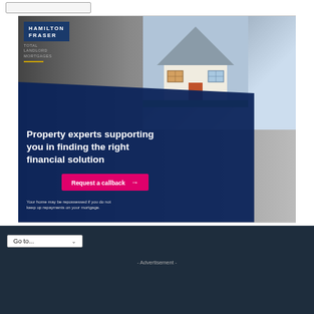[Figure (illustration): Hamilton Fraser Total Landlord Mortgages advertisement banner. Dark navy overlay with large white bold text reading 'Property experts supporting you in finding the right financial solution'. Pink 'Request a callback' button with arrow. Disclaimer text at bottom. House model photo in background.]
Go to...
- Advertisement -
[Figure (illustration): LandlordZONE banner advertisement with text 'Looking to grow your business?' on blue background with red diagonal stripe.]